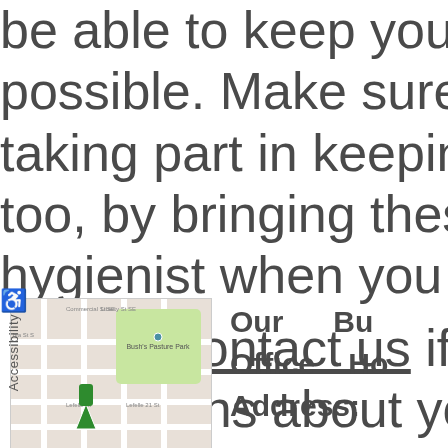be able to keep your mo possible. Make sure you a taking part in keeping you too, by bringing these thin hygienist when you see th
lease contact us if you h questions about your oral
[Figure (map): Google Maps embed showing Bush's Pasture Park area with a green marker indicating office location]
Our Bu Office H Address: